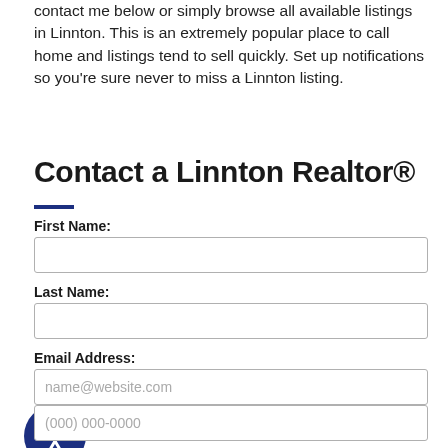contact me below or simply browse all available listings in Linnton. This is an extremely popular place to call home and listings tend to sell quickly. Set up notifications so you're sure never to miss a Linnton listing.
Contact a Linnton Realtor®
First Name:
Last Name:
Email Address:
name@website.com
(000) 000-0000